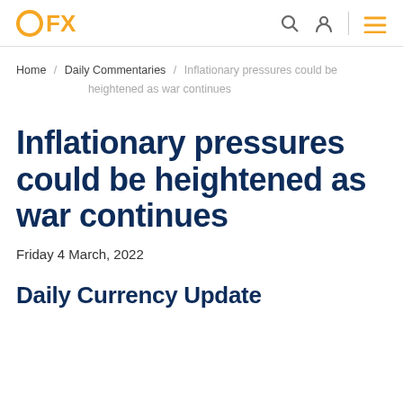OFX
Home / Daily Commentaries / Inflationary pressures could be heightened as war continues
Inflationary pressures could be heightened as war continues
Friday 4 March, 2022
Daily Currency Update